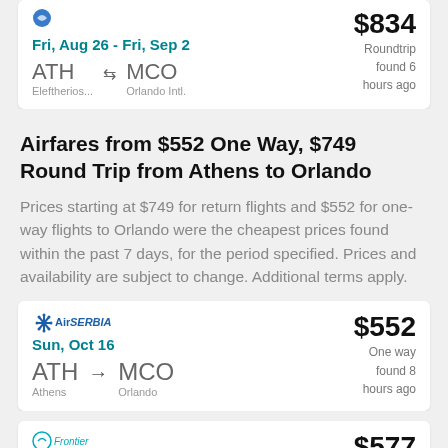Fri, Aug 26 - Fri, Sep 2
ATH ↔ MCO
Eleftherios... Orlando Intl.
$834 Roundtrip found 6 hours ago
Airfares from $552 One Way, $749 Round Trip from Athens to Orlando
Prices starting at $749 for return flights and $552 for one-way flights to Orlando were the cheapest prices found within the past 7 days, for the period specified. Prices and availability are subject to change. Additional terms apply.
Air SERBIA
Sun, Oct 16
ATH → MCO
Athens Orlando
$552 One way found 8 hours ago
Sun, Jun 11
$577 One way